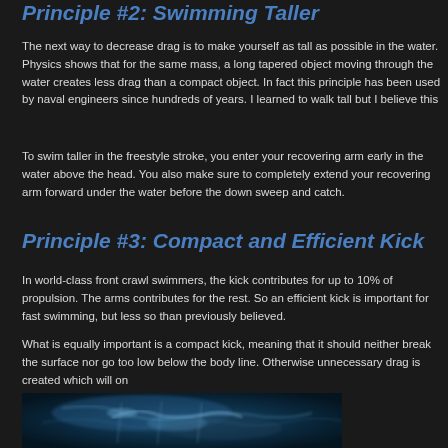Principle #2: Swimming Taller
The next way to decrease drag is to make yourself as tall as possible in the water. Physics shows that for the same mass, a long tapered object moving through the water creates less drag than a compact object. In fact this principle has been used by naval engineers since hundreds of years. I learned to walk tall but I believe this
To swim taller in the freestyle stroke, you enter your recovering arm early in the water above the head. You also make sure to completely extend your recovering arm forward under the water before the down sweep and catch.
Principle #3: Compact and Efficient Kick
In world-class front crawl swimmers, the kick contributes for up to 10% of propulsion. The arms contributes for the rest. So an efficient kick is important for fast swimming, but less so than previously believed.
What is equally important is a compact kick, meaning that it should neither break the surface nor go too low below the body line. Otherwise unnecessary drag is created which will on
[Figure (photo): Underwater photo of a swimmer performing freestyle stroke, showing body position and kick technique in dark blue water.]